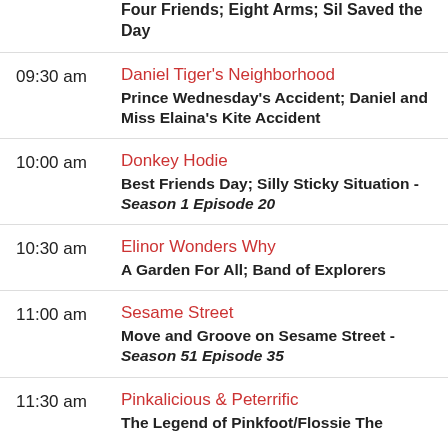Four Friends; Eight Arms; Sil Saved the Day
09:30 am
Daniel Tiger's Neighborhood
Prince Wednesday's Accident; Daniel and Miss Elaina's Kite Accident
10:00 am
Donkey Hodie
Best Friends Day; Silly Sticky Situation - Season 1 Episode 20
10:30 am
Elinor Wonders Why
A Garden For All; Band of Explorers
11:00 am
Sesame Street
Move and Groove on Sesame Street - Season 51 Episode 35
11:30 am
Pinkalicious & Peterrific
The Legend of Pinkfoot/Flossie The